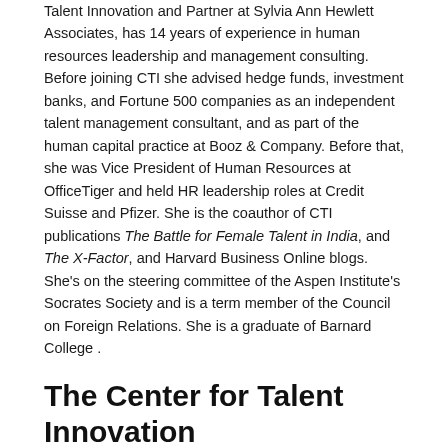Talent Innovation and Partner at Sylvia Ann Hewlett Associates, has 14 years of experience in human resources leadership and management consulting. Before joining CTI she advised hedge funds, investment banks, and Fortune 500 companies as an independent talent management consultant, and as part of the human capital practice at Booz & Company. Before that, she was Vice President of Human Resources at OfficeTiger and held HR leadership roles at Credit Suisse and Pfizer. She is the coauthor of CTI publications The Battle for Female Talent in India, and The X-Factor, and Harvard Business Online blogs. She's on the steering committee of the Aspen Institute's Socrates Society and is a term member of the Council on Foreign Relations. She is a graduate of Barnard College .
The Center for Talent Innovation
The Center for Talent Innovation (formerly the Center for Work-Life Policy), a non-profit “think tank” based in New York City, has emerged as a thought leader in diversity and talent management, driving ground-breaking research and seeding programs and practices that attract, retain, and accelerate new streams of talent around the world.